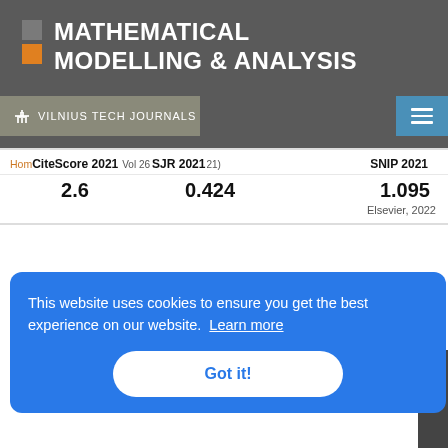[Figure (logo): Mathematical Modelling & Analysis journal logo with icon and text on grey background]
VILNIUS TECH Journals
| CiteScore 2021 | SJR 2021 | SNIP 2021 |
| --- | --- | --- |
| 2.6 | 0.424 | 1.095 |
|  |  | Elsevier, 2022 |
[Figure (logo): Crossref logo — partial view showing colored arrow/triangle shapes and 'Crossref' text]
This website uses cookies to ensure you get the best experience on our website.  Learn more
Got it!